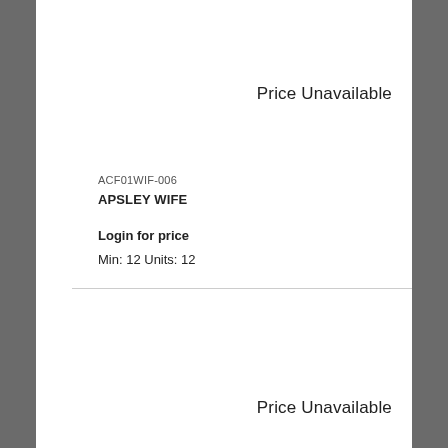Price Unavailable
ACF01WIF-006
APSLEY WIFE
Login for price
Min:  12 Units:  12
Price Unavailable